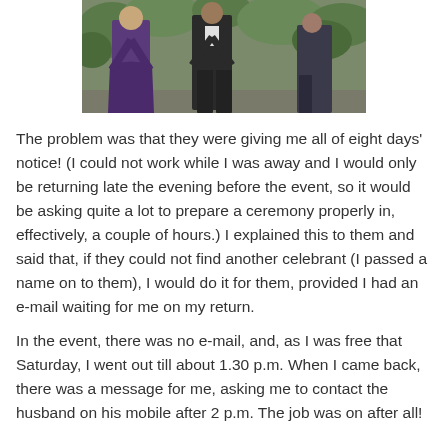[Figure (photo): A photograph showing people standing outdoors, appearing to wear formal/dark clothing, with green foliage in the background. The photo is cropped showing the lower half of the subjects.]
The problem was that they were giving me all of eight days' notice! (I could not work while I was away and I would only be returning late the evening before the event, so it would be asking quite a lot to prepare a ceremony properly in, effectively, a couple of hours.) I explained this to them and said that, if they could not find another celebrant (I passed a name on to them), I would do it for them, provided I had an e-mail waiting for me on my return.
In the event, there was no e-mail, and, as I was free that Saturday, I went out till about 1.30 p.m. When I came back, there was a message for me, asking me to contact the husband on his mobile after 2 p.m. The job was on after all!